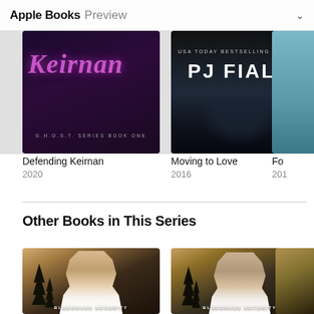Apple Books Preview
[Figure (photo): Book cover for 'Defending Keirnan' - dark purple/black background with pink cursive title text, subtitle 'G.H.O.S.T. SERIES BOOK ONE']
[Figure (photo): Book cover for 'Moving to Love' by PJ Fiala - dark background with horse silhouette, text 'USA TODAY BESTSELLING AUTHOR PJ FIALA']
[Figure (photo): Partial book cover, light blue/teal tones, partially cropped]
Defending Keirnan
2020
Moving to Love
2016
Fo...
201...
Other Books in This Series
[Figure (photo): Book cover - Bluegrass Security series, man in white tank top against trees and sunset sky background]
[Figure (photo): Book cover - Bluegrass Security series, second man in white tank top against trees and sky background]
[Figure (photo): Partial third Bluegrass Security book cover, partially cropped]